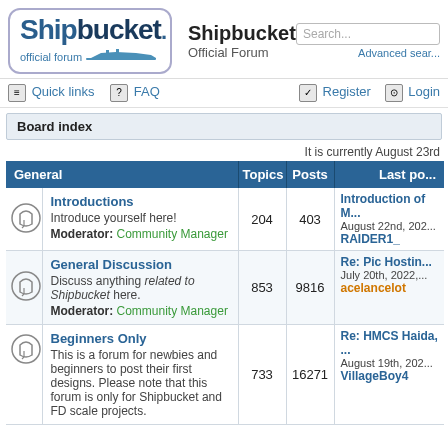[Figure (logo): Shipbucket official forum logo with ship silhouette illustration]
Shipbucket Official Forum — Search box, Advanced search
Quick links  FAQ  Register  Login
Board index
It is currently August 23rd
| General | Topics | Posts | Last post |
| --- | --- | --- | --- |
| Introductions
Introduce yourself here!
Moderator: Community Manager | 204 | 403 | Introduction of ...
August 22nd, 202...
RAIDER1_ |
| General Discussion
Discuss anything related to Shipbucket here.
Moderator: Community Manager | 853 | 9816 | Re: Pic Hostin...
July 20th, 2022,...
acelancelot |
| Beginners Only
This is a forum for newbies and beginners to post their first designs. Please note that this forum is only for Shipbucket and FD scale projects. | 733 | 16271 | Re: HMCS Haida, ...
August 19th, 202...
VillageBoy4 |